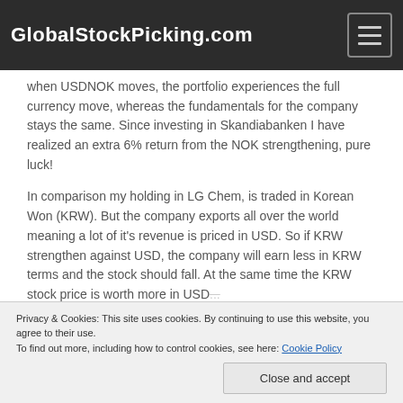GlobalStockPicking.com
when USDNOK moves, the portfolio experiences the full currency move, whereas the fundamentals for the company stays the same. Since investing in Skandiabanken I have realized an extra 6% return from the NOK strengthening, pure luck!
In comparison my holding in LG Chem, is traded in Korean Won (KRW). But the company exports all over the world meaning a lot of it's revenue is priced in USD. So if KRW strengthen against USD, the company will earn less in KRW terms and the stock should fall. At the same time the KRW stock price is worth more in USD...
Privacy & Cookies: This site uses cookies. By continuing to use this website, you agree to their use.
To find out more, including how to control cookies, see here: Cookie Policy
Close and accept